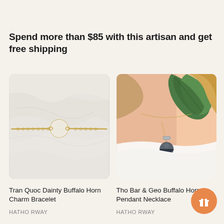Spend more than $85 with this artisan and get free shipping
[Figure (photo): Close-up photo of a gold chain bracelet with a round white/cream disc charm on a marble surface]
Tran Quoc Dainty Buffalo Horn Charm Bracelet
HATHO RWAY
[Figure (photo): Photo of a woman wearing a geometric buffalo horn pendant necklace with a bar and half-circle charm, green leaf in background]
Tho Bar & Geo Buffalo Horn Pendant Necklace
HATHO RWAY